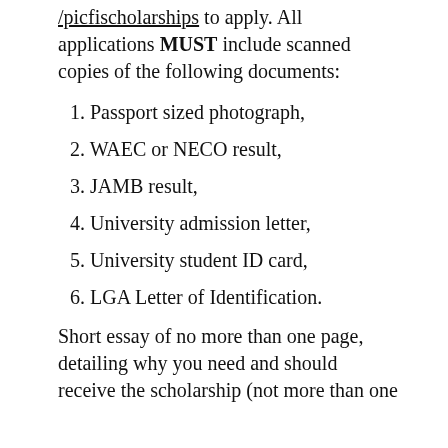/picfischolarships to apply. All applications MUST include scanned copies of the following documents:
1. Passport sized photograph,
2. WAEC or NECO result,
3. JAMB result,
4. University admission letter,
5. University student ID card,
6. LGA Letter of Identification.
Short essay of no more than one page, detailing why you need and should receive the scholarship (not more than one